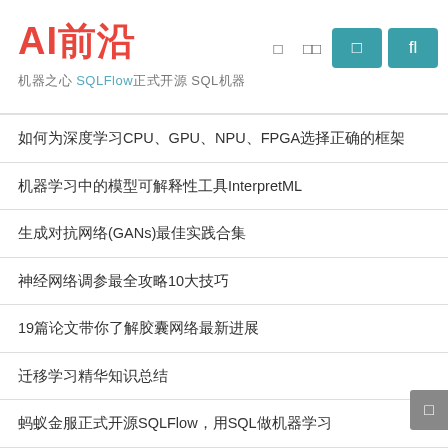AI前沿
机器之心 SQLFlow正式开源 SQL机器
如何为深度学习CPU、GPU、NPU、FPGA选择正确的框架
机器学习中的模型可解释性工具InterpretML
生成对抗网络(GANs)最佳实践合集
神经网络调参最全攻略10大技巧
19篇论文带你了解胶囊网络最新进展
迁移学习精华知识总结
蚂蚁金服正式开源SQLFlow，用SQL做机器学习
Facebook发布Pythia，专为视觉和语言多任务学习设计
深度学习必备数学
在GitHub上收获最多星的机器学习项目